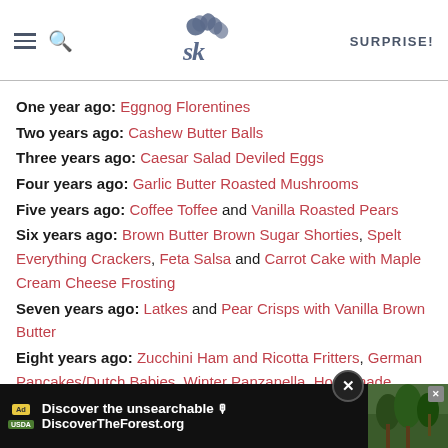SK logo | SURPRISE!
One year ago: Eggnog Florentines
Two years ago: Cashew Butter Balls
Three years ago: Caesar Salad Deviled Eggs
Four years ago: Garlic Butter Roasted Mushrooms
Five years ago: Coffee Toffee and Vanilla Roasted Pears
Six years ago: Brown Butter Brown Sugar Shorties, Spelt Everything Crackers, Feta Salsa and Carrot Cake with Maple Cream Cheese Frosting
Seven years ago: Latkes and Pear Crisps with Vanilla Brown Butter
Eight years ago: Zucchini Ham and Ricotta Fritters, German Pancakes/Dutch Babies, Winter Panzanella, Homemade Orchiette with Tomatoes and Arugu...
[Figure (screenshot): Advertisement bar at bottom: DiscoverTheForest.org ad with close button]